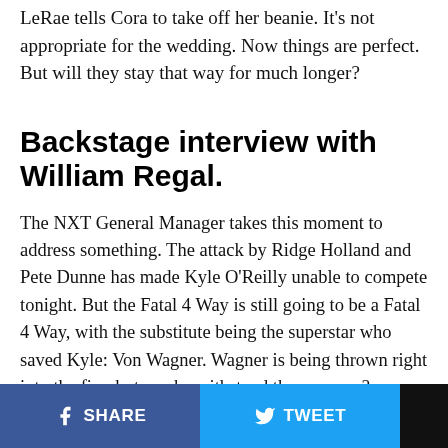LeRae tells Cora to take off her beanie. It's not appropriate for the wedding. Now things are perfect. But will they stay that way for much longer?
Backstage interview with William Regal.
The NXT General Manager takes this moment to address something. The attack by Ridge Holland and Pete Dunne has made Kyle O'Reilly unable to compete tonight. But the Fatal 4 Way is still going to be a Fatal 4 Way, with the substitute being the superstar who saved Kyle: Von Wagner. Wagner is being thrown right into the fire, but can he withstand the pressure?
SHARE   TWEET